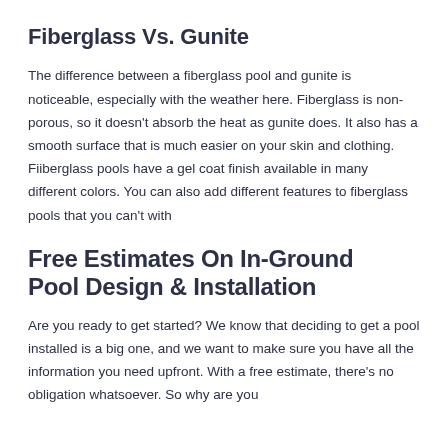Fiberglass Vs. Gunite
The difference between a fiberglass pool and gunite is noticeable, especially with the weather here. Fiberglass is non-porous, so it doesn't absorb the heat as gunite does. It also has a smooth surface that is much easier on your skin and clothing. Fiiberglass pools have a gel coat finish available in many different colors. You can also add different features to fiberglass pools that you can't with
Free Estimates On In-Ground Pool Design & Installation
Are you ready to get started? We know that deciding to get a pool installed is a big one, and we want to make sure you have all the information you need upfront. With a free estimate, there's no obligation whatsoever. So why are you